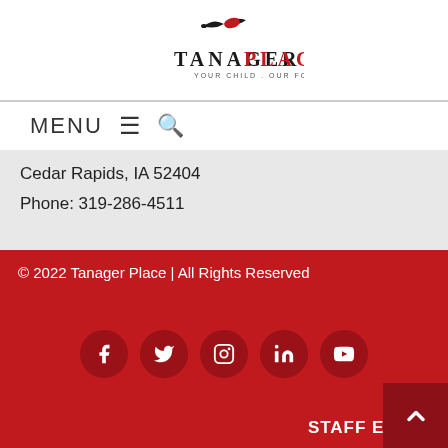[Figure (logo): Tanager Place logo with bird graphic and tagline YOUR CHILD . OUR FOCUS]
MENU ≡ 🔍
Cedar Rapids, IA 52404
Phone: 319-286-4511
© 2022 Tanager Place | All Rights Reserved
[Figure (infographic): Social media icons row: Facebook, Twitter, Instagram, LinkedIn, YouTube — white icons on dark red circles]
STAFF EMAIL
PUBLICATIONS
TERMS OF USE